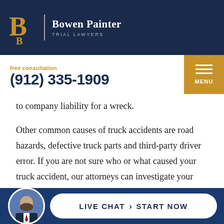Bowen Painter Trial Lawyers
free consultation
(912) 335-1909
to company liability for a wreck.
Other common causes of truck accidents are road hazards, defective truck parts and third-party driver error. If you are not sure who or what caused your truck accident, our attorneys can investigate your collision to determine fault. We can also help you preserve and collect key evidence to support a lawsuit against one or more defendants.
LIVE CHAT › START NOW